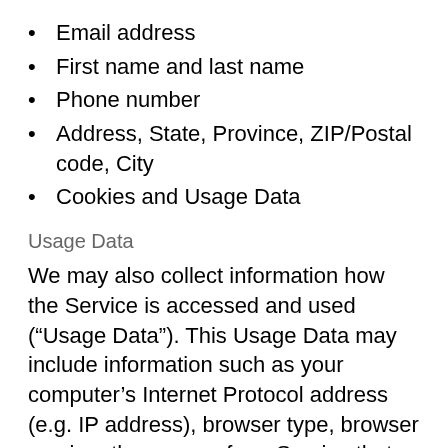Email address
First name and last name
Phone number
Address, State, Province, ZIP/Postal code, City
Cookies and Usage Data
Usage Data
We may also collect information how the Service is accessed and used (“Usage Data”). This Usage Data may include information such as your computer’s Internet Protocol address (e.g. IP address), browser type, browser version, the pages of our Service that you visit, the time and date of your visit, the time spent on those pages, unique device identifiers and other diagnostic data.